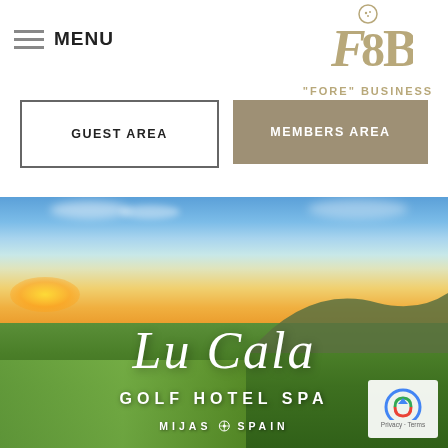MENU
[Figure (logo): F8B / Fore Business logo with golf ball on top, and text "FORE" BUSINESS below]
GUEST AREA
MEMBERS AREA
[Figure (photo): Scenic golf course photo at sunset with green fairways, blue sky with clouds, hills in background, La Cala Golf Hotel Spa branding overlay, Mijas Spain]
La Cala
GOLF HOTEL SPA
MIJAS ★ SPAIN